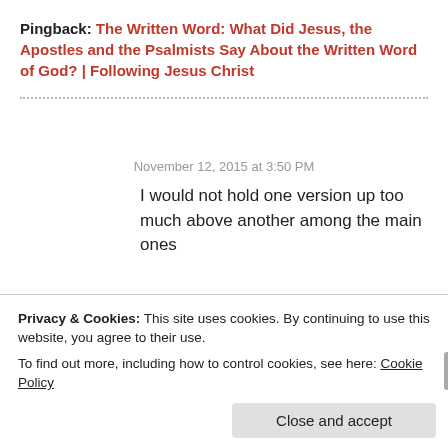Pingback: The Written Word: What Did Jesus, the Apostles and the Psalmists Say About the Written Word of God? | Following Jesus Christ
November 12, 2015 at 3:50 PM
I would not hold one version up too much above another among the main ones
Susan
Privacy & Cookies: This site uses cookies. By continuing to use this website, you agree to their use. To find out more, including how to control cookies, see here: Cookie Policy
Close and accept